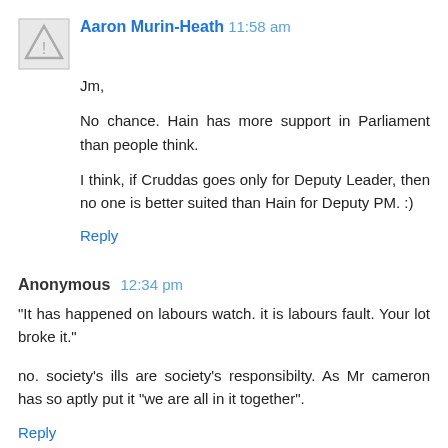Aaron Murin-Heath 11:58 am
Jm,

No chance. Hain has more support in Parliament than people think.

I think, if Cruddas goes only for Deputy Leader, then no one is better suited than Hain for Deputy PM. :)
Reply
Anonymous 12:34 pm
"It has happened on labours watch. it is labours fault. Your lot broke it."


no. society's ills are society's responsibilty. As Mr cameron has so aptly put it "we are all in it together".
Reply